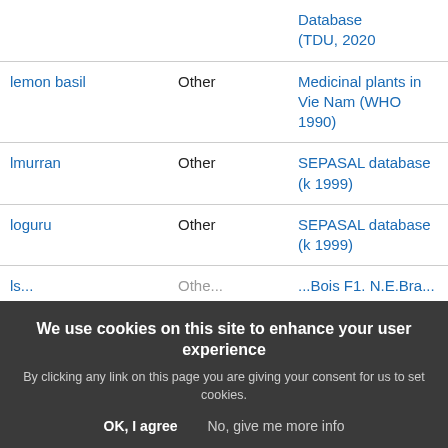| Common name | Category | Source |
| --- | --- | --- |
|  |  | Database (TDU, 2020 |
| lemon basil | Other | Medicinal plants in Vie Nam (WHO 1990) |
| lmurran | Other | SEPASAL database (k 1999) |
| loguru | Other | SEPASAL database (k 1999) |
| ls... | Other | ...Bois F1. N.E.Bra... (Abira et al., 2007) |
We use cookies on this site to enhance your user experience
By clicking any link on this page you are giving your consent for us to set cookies.
OK, I agree    No, give me more info